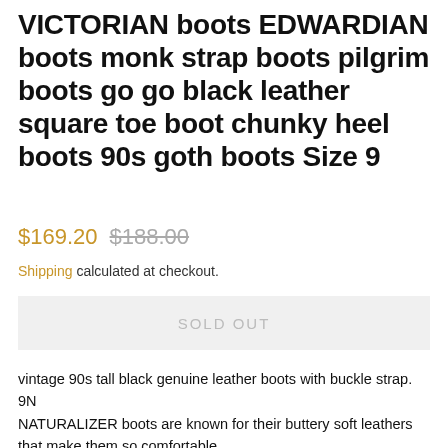VICTORIAN boots EDWARDIAN boots monk strap boots pilgrim boots go go black leather square toe boot chunky heel boots 90s goth boots Size 9
$169.20  $188.00
Shipping calculated at checkout.
SOLD OUT
vintage 90s tall black genuine leather boots with buckle strap. 9N
NATURALIZER boots are known for their buttery soft leathers that make them so comfortable.
all genuine leather uppers.